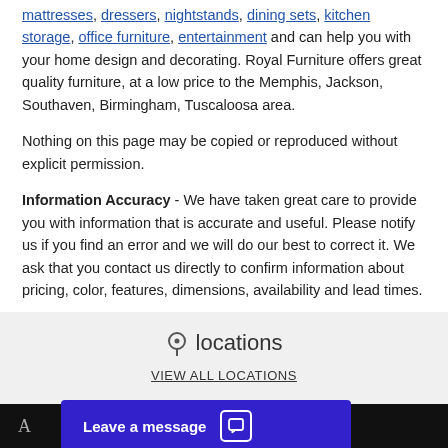mattresses, dressers, nightstands, dining sets, kitchen storage, office furniture, entertainment and can help you with your home design and decorating. Royal Furniture offers great quality furniture, at a low price to the Memphis, Jackson, Southaven, Birmingham, Tuscaloosa area.
Nothing on this page may be copied or reproduced without explicit permission.
Information Accuracy - We have taken great care to provide you with information that is accurate and useful. Please notify us if you find an error and we will do our best to correct it. We ask that you contact us directly to confirm information about pricing, color, features, dimensions, availability and lead times.
locations
VIEW ALL LOCATIONS
ROYAL FURNITURE CORPORATE OFFICE
930 S White Station Rd
ROYAL FURNITURE - CORDOVA, TN
1862 North
RO
1615
Leave a message